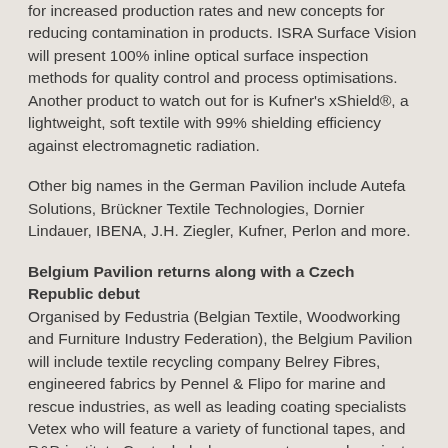for increased production rates and new concepts for reducing contamination in products. ISRA Surface Vision will present 100% inline optical surface inspection methods for quality control and process optimisations. Another product to watch out for is Kufner's xShield®, a lightweight, soft textile with 99% shielding efficiency against electromagnetic radiation.
Other big names in the German Pavilion include Autefa Solutions, Brückner Textile Technologies, Dornier Lindauer, IBENA, J.H. Ziegler, Kufner, Perlon and more.
Belgium Pavilion returns along with a Czech Republic debut
Organised by Fedustria (Belgian Textile, Woodworking and Furniture Industry Federation), the Belgium Pavilion will include textile recycling company Belrey Fibres, engineered fabrics by Pennel & Flipo for marine and rescue industries, as well as leading coating specialists Vetex who will feature a variety of functional tapes, and R&D institute Centexbel who carry out research projects across the entire textile and polymer production chain.
The new Czech Republic Pavilion organised by ATOK, the Association of Textile-Clothing–Leather